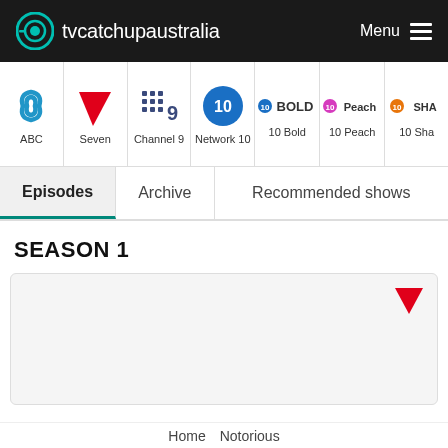tvcatchupaustralia  Menu
[Figure (logo): tvcatchupaustralia logo with eye icon in teal]
ABC
Seven
Channel 9
Network 10
10 Bold
10 Peach
10 Sha
Episodes  Archive  Recommended shows
SEASON 1
[Figure (logo): Channel Seven logo (red 7) in top-right corner of episode card]
Home  Notorious